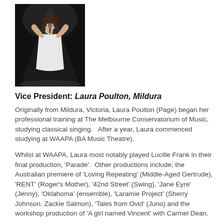[Figure (photo): A woman in a white dress singing into a microphone on a dark stage, photographed from slightly below.]
Vice President: Laura Poulton, Mildura
Originally from Mildura, Victoria, Laura Poulton (Page) began her professional training at The Melbourne Conservatorium of Music, studying classical singing.   After a year, Laura commenced studying at WAAPA (BA Music Theatre).
Whilst at WAAPA, Laura most notably played Lucille Frank in their final production, 'Parade'.  Other productions include; the Australian premiere of 'Loving Repeating' (Middle-Aged Gertrude), 'RENT' (Roger's Mother), '42nd Street' (Swing), 'Jane Eyre' (Jenny), 'Oklahoma' (ensemble), 'Laramie Project' (Sherry Johnson, Zackie Salmon), 'Tales from Ovid' (Juno) and the workshop production of 'A girl named Vincent' with Carmel Dean.